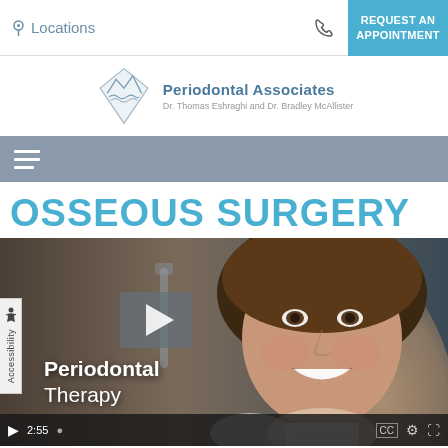Locations | REQUEST AN APPOINTMENT
[Figure (logo): Periodontal Associates logo — diamond shape with mountain/water graphic, text: Periodontal Associates, Dr. Thomas Eshraghi and Dr. Bradley McAllister]
OSSEOUS SURGERY
[Figure (photo): Video thumbnail showing a smiling woman in a dental office setting, with play button overlay and caption 'Periodontal Therapy'. Video duration shown as 2:55.]